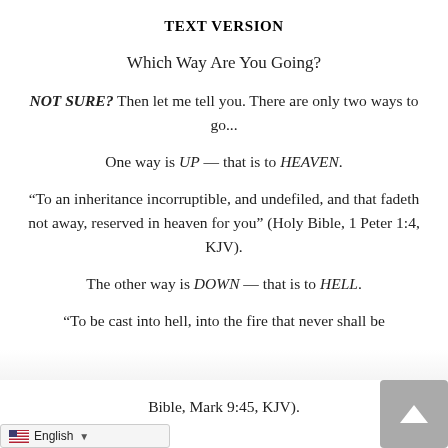TEXT VERSION
Which Way Are You Going?
NOT SURE?  Then let me tell you.  There are only two ways to go...
One way is UP — that is to HEAVEN.
“To an inheritance incorruptible, and undefiled, and that fadeth not away, reserved in heaven for you” (Holy Bible, 1 Peter 1:4, KJV).
The other way is DOWN — that is to HELL.
“To be cast into hell, into the fire that never shall be ... Bible, Mark 9:45, KJV).